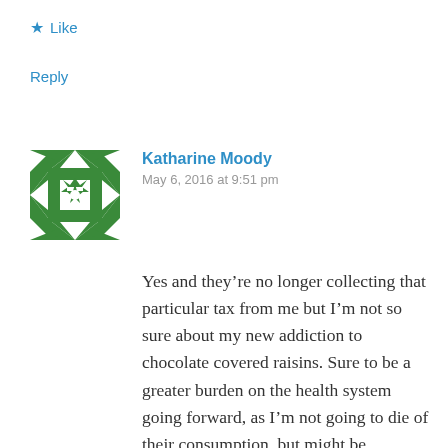★ Like
Reply
[Figure (illustration): Green geometric quilt-pattern avatar with white snowflake/star design on green background]
Katharine Moody
May 6, 2016 at 9:51 pm
Yes and they're no longer collecting that particular tax from me but I'm not so sure about my new addiction to chocolate covered raisins. Sure to be a greater burden on the health system going forward, as I'm not going to die of their consumption, but might be contributing to stats on the obesity epidemic being on the rise…)